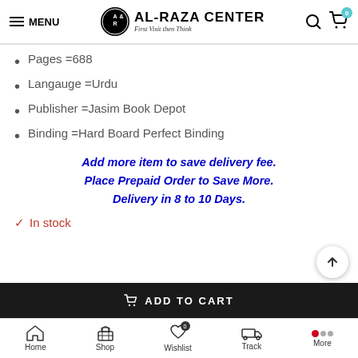AL-RAZA CENTER — Menu, Search, Cart
Pages =688
Langauge =Urdu
Publisher =Jasim Book Depot
Binding =Hard Board Perfect Binding
Add more item to save delivery fee.
Place Prepaid Order to Save More.
Delivery in 8 to 10 Days.
✓ In stock
ADD TO CART | Home | Shop | Wishlist | Track | More